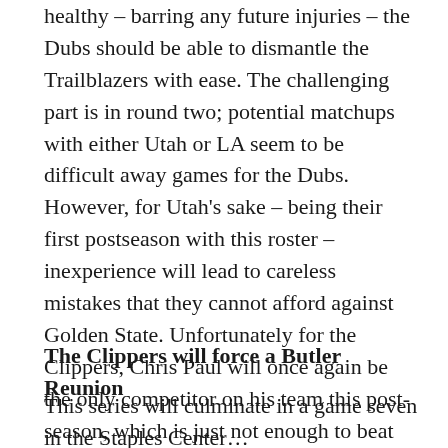healthy – barring any future injuries – the Dubs should be able to dismantle the Trailblazers with ease. The challenging part is in round two; potential matchups with either Utah or LA seem to be difficult away games for the Dubs. However, for Utah's sake – being their first postseason with this roster – inexperience will lead to careless mistakes that they cannot afford against Golden State. Unfortunately for the Clippers, Chris Paul will once again be the only competitor on his team this post-season, which is just not enough to beat the well-oiled machine that is Golden State.
The Clippers will force a Butler Reunion
This series will culminate in a game seven in the Staples Center…